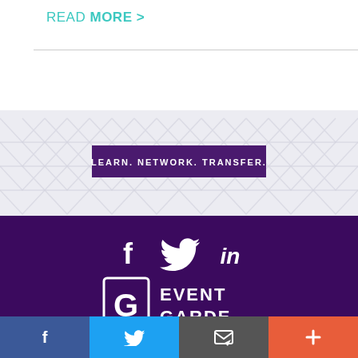READ MORE >
[Figure (infographic): Geometric pattern background with triangles/chevrons in light gray on white/light background with a dark purple banner overlay reading LEARN. NETWORK. TRANSFER.]
[Figure (illustration): Purple footer section with white social media icons: Facebook (f), Twitter (bird), LinkedIn (in), and Event Garde logo with stylized G icon and text EVENT GARDE]
[Figure (infographic): Bottom share bar with four colored buttons: blue Facebook, blue Twitter, gray email/envelope, orange-red plus button]